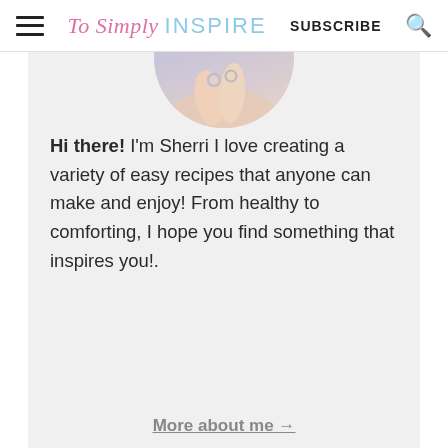To Simply INSPIRE   SUBSCRIBE
[Figure (photo): Circular cropped photo of hands with rings, partially visible at top of gray content box]
Hi there! I'm Sherri I love creating a variety of easy recipes that anyone can make and enjoy! From healthy to comforting, I hope you find something that inspires you!.
More about me →